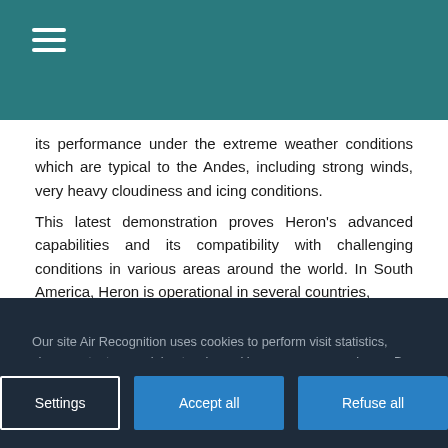Navigation menu (hamburger icon)
its performance under the extreme weather conditions which are typical to the Andes, including strong winds, very heavy cloudiness and icing conditions.
This latest demonstration proves Heron's advanced capabilities and its compatibility with challenging conditions in various areas around the world. In South America, Heron is operational in several countries,
Our site Air Recognition uses cookies to perform visit statistics, share content on social networks and improve your experience. By refusing cookies, some services will not function properly. We store your choice for 30 days. You can change your mind by clicking on the 'Cookies' button at the bottom left of every page of our site. Learn more